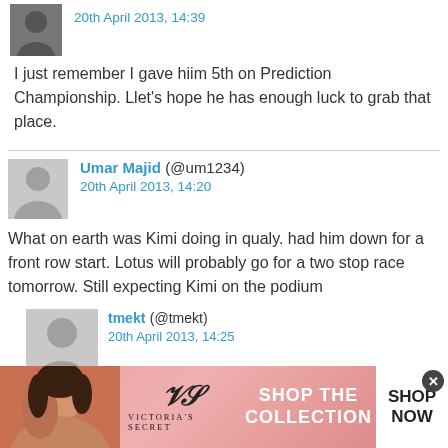20th April 2013, 14:39
I just remember I gave hiim 5th on Prediction Championship. Llet's hope he has enough luck to grab that place.
Umar Majid (@um1234)
20th April 2013, 14:20
What on earth was Kimi doing in qualy. had him down for a front row start. Lotus will probably go for a two stop race tomorrow. Still expecting Kimi on the podium
tmekt (@tmekt)
20th April 2013, 14:25
[Figure (photo): Victoria's Secret advertisement banner with woman model, VS logo, and SHOP NOW button]